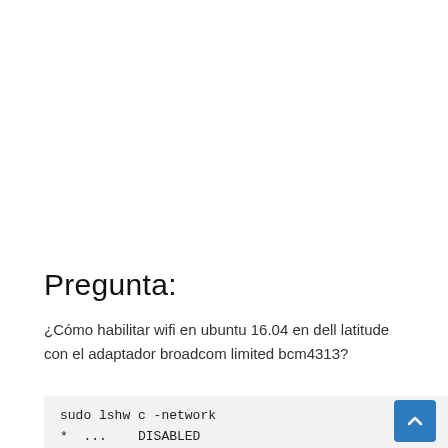Pregunta:
¿Cómo habilitar wifi en ubuntu 16.04 en dell latitude con el adaptador broadcom limited bcm4313?
sudo lshw c -network
* ...  DISABLED